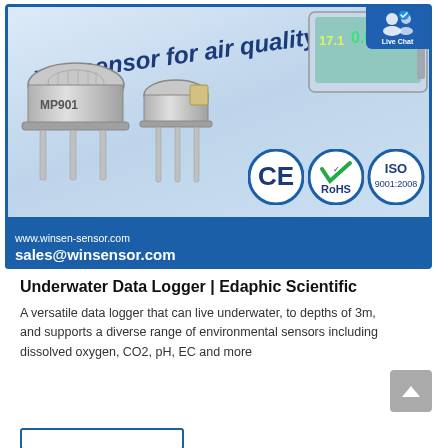[Figure (photo): Advertisement banner for Winsen Sensor showing VOC sensor hardware products (MP901 sensor components), an air quality monitor/detector display, CE/RoHS/ISO 9001:2008 certification logos, website www.winsen-sensor.com and email sales@winsensor.com on blue background]
[Figure (screenshot): Live Chat button overlay in top right corner of ad banner]
Underwater Data Logger | Edaphic Scientific
A versatile data logger that can live underwater, to depths of 3m, and supports a diverse range of environmental sensors including dissolved oxygen, CO2, pH, EC and more